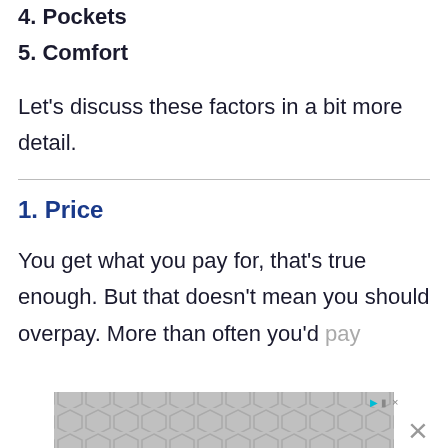4. Pockets
5. Comfort
Let’s discuss these factors in a bit more detail.
1. Price
You get what you pay for, that’s true enough. But that doesn’t mean you should overpay. More than often you’d pay...
[Figure (other): Advertisement banner overlay at bottom of page with hexagonal pattern and close/dismiss controls]